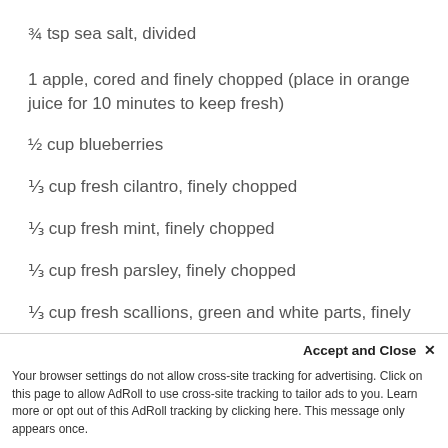¾ tsp sea salt, divided
1 apple, cored and finely chopped (place in orange juice for 10 minutes to keep fresh)
½ cup blueberries
⅓ cup fresh cilantro, finely chopped
⅓ cup fresh mint, finely chopped
⅓ cup fresh parsley, finely chopped
⅓ cup fresh scallions, green and white parts, finely
Accept and Close ✕
Your browser settings do not allow cross-site tracking for advertising. Click on this page to allow AdRoll to use cross-site tracking to tailor ads to you. Learn more or opt out of this AdRoll tracking by clicking here. This message only appears once.